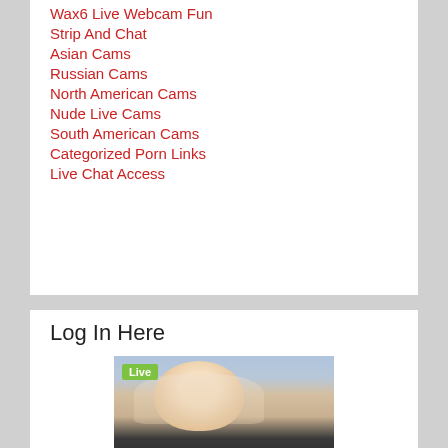Wax6 Live Webcam Fun
Strip And Chat
Asian Cams
Russian Cams
North American Cams
Nude Live Cams
South American Cams
Categorized Porn Links
Live Chat Access
Log In Here
[Figure (photo): Webcam thumbnail showing a blonde woman in a car with a green 'Live' badge overlay in the top-left corner]